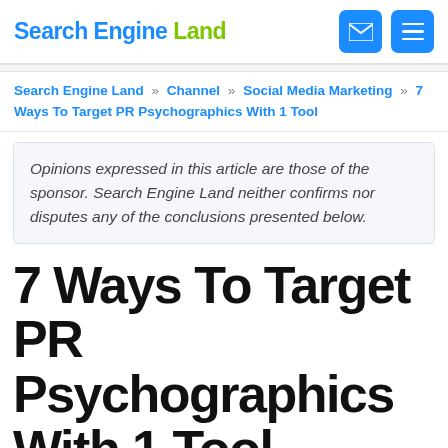Search Engine Land
Search Engine Land » Channel » Social Media Marketing » 7 Ways To Target PR Psychographics With 1 Tool
Opinions expressed in this article are those of the sponsor. Search Engine Land neither confirms nor disputes any of the conclusions presented below.
7 Ways To Target PR Psychographics With 1 Tool